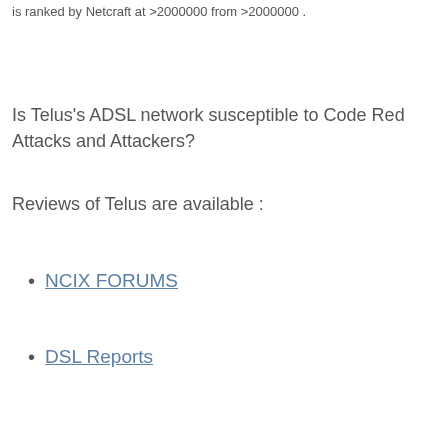is ranked by Netcraft at >2000000 from >2000000 .
Is Telus's ADSL network susceptible to Code Red Attacks and Attackers?
Reviews of Telus are available :
NCIX FORUMS
DSL Reports